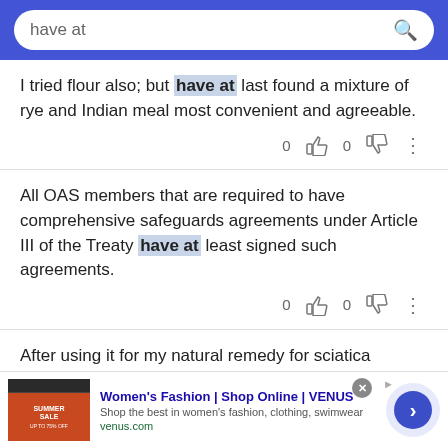have at [search bar]
I tried flour also; but have at last found a mixture of rye and Indian meal most convenient and agreeable.
All OAS members that are required to have comprehensive safeguards agreements under Article III of the Treaty have at least signed such agreements.
After using it for my natural remedy for sciatica
[Figure (screenshot): Advertisement banner: Women's Fashion | Shop Online | VENUS. Shop the best in women's fashion, clothing, swimwear. venus.com]